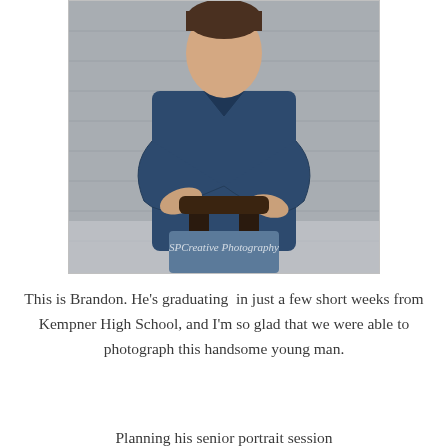[Figure (photo): A young man wearing a dark navy blue long-sleeve button-up shirt, sitting on a dark wooden chair with arms crossed, posed against a gray brick/concrete wall background. The photo has a watermark reading 'SPCreative Photography'.]
This is Brandon. He's graduating in just a few short weeks from Kempner High School, and I'm so glad that we were able to photograph this handsome young man.
Planning his senior portrait session